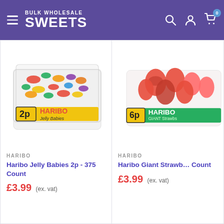BULK WHOLESALE SWEETS
[Figure (photo): Haribo Jelly Babies 2p - 375 Count bulk tub, colourful jelly sweets in a clear plastic container with yellow Haribo label]
HARIBO
Haribo Jelly Babies 2p - 375 Count
£3.99 (ex. vat)
[Figure (photo): Haribo Giant Strawbs 6p bulk tub, red strawberry shaped jelly sweets in a clear plastic container with green Haribo label]
HARIBO
Haribo Giant Strawbs Count
£3.99 (ex. vat)